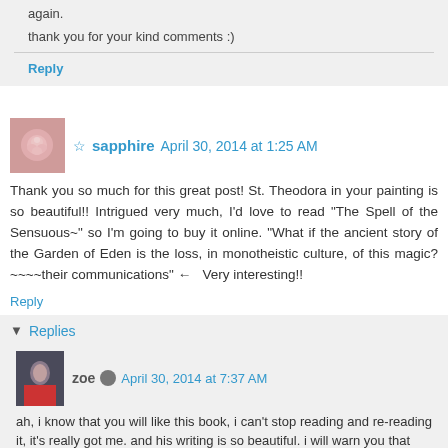again. thank you for your kind comments :)
Reply
☆sapphire  April 30, 2014 at 1:25 AM
Thank you so much for this great post! St. Theodora in your painting is so beautiful!! Intrigued very much, I'd love to read "The Spell of the Sensuous~" so I'm going to buy it online. "What if the ancient story of the Garden of Eden is the loss, in monotheistic culture, of this magic?~~~~their communications" ←   Very interesting!!
Reply
▼ Replies
zoe  April 30, 2014 at 7:37 AM
ah, i know that you will like this book, i can't stop reading and re-reading it, it's really got me. and his writing is so beautiful. i will warn you that